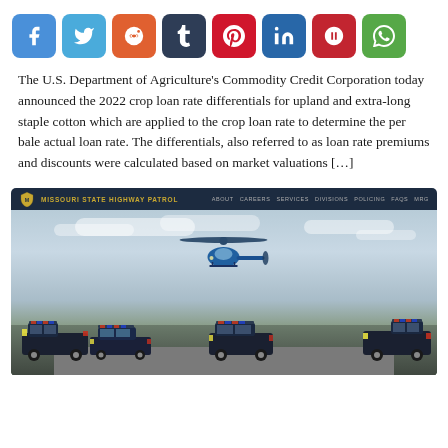[Figure (infographic): Row of 8 social media share buttons: Facebook (blue), Twitter (light blue), Reddit (orange), Tumblr (dark navy), Pinterest (red), LinkedIn (blue), Parler (red), WhatsApp (green)]
The U.S. Department of Agriculture's Commodity Credit Corporation today announced the 2022 crop loan rate differentials for upland and extra-long staple cotton which are applied to the crop loan rate to determine the per bale actual loan rate. The differentials, also referred to as loan rate premiums and discounts were calculated based on market valuations […]
[Figure (screenshot): Screenshot of Missouri State Highway Patrol website header showing logo and navigation, with a photo of police vehicles (two pickup trucks, a sedan, and two SUVs) parked on pavement and a blue helicopter hovering above against a cloudy sky.]